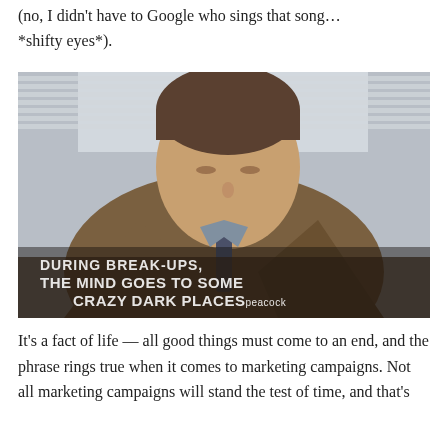(no, I didn't have to Google who sings that song… *shifty eyes*).
[Figure (photo): A man in a brown jacket with eyes downcast, sitting in front of window blinds. Subtitle text overlay reads: 'DURING BREAK-UPS, THE MIND GOES TO SOME CRAZY DARK PLACES' with 'peacock' logo.]
It's a fact of life — all good things must come to an end, and the phrase rings true when it comes to marketing campaigns. Not all marketing campaigns will stand the test of time, and that's